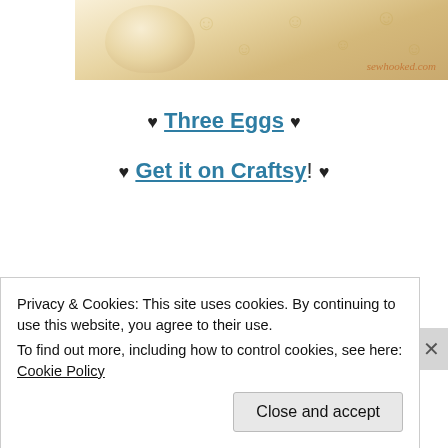[Figure (photo): Partial view of a craft/sewing image with an egg shape on a patterned beige background, watermarked with 'sewhooked.com']
♥ Three Eggs ♥
♥ Get it on Craftsy! ♥
Privacy & Cookies: This site uses cookies. By continuing to use this website, you agree to their use.
To find out more, including how to control cookies, see here: Cookie Policy

Close and accept